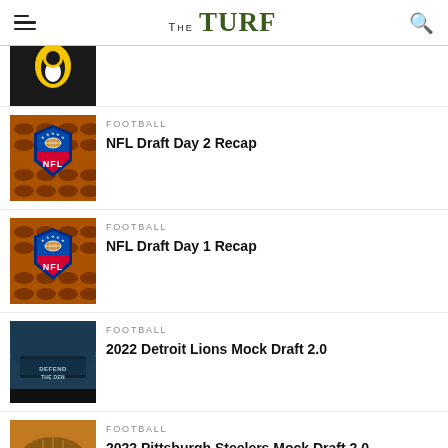The TURF
[Figure (photo): Partial thumbnail of Pittsburgh Penguins hockey player in black and yellow uniform]
FOOTBALL
NFL Draft Day 2 Recap
[Figure (photo): NFL shield logo with red, white and blue on orange/brown football background]
FOOTBALL
NFL Draft Day 1 Recap
[Figure (photo): NFL shield logo with red, white and blue on orange/brown football background]
FOOTBALL
2022 Detroit Lions Mock Draft 2.0
[Figure (photo): Ford Field stadium exterior with Defend the Den signage, dark teal/blue tones]
FOOTBALL
2022 Pittsburgh Steelers Mock Draft 2.0
[Figure (photo): Close-up of official NFL football on orange/brown background]